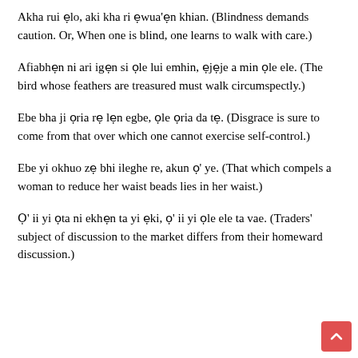Akha rui ẹlo, aki kha ri ẹwua'ẹn khian. (Blindness demands caution. Or, When one is blind, one learns to walk with care.)
Afiabhẹn ni ari igẹn si ọle lui emhin, ẹjẹje a min ọle ele. (The bird whose feathers are treasured must walk circumspectly.)
Ebe bha ji ọria rẹ lẹn egbe, ọle ọria da tẹ. (Disgrace is sure to come from that over which one cannot exercise self-control.)
Ebe yi okhuo zẹ bhi ileghe re, akun ọ' ye. (That which compels a woman to reduce her waist beads lies in her waist.)
Ọ' ii yi ọta ni ekhẹn ta yi ẹki, ọ' ii yi ọle ele ta vae. (Traders' subject of discussion to the market differs from their homeward discussion.)